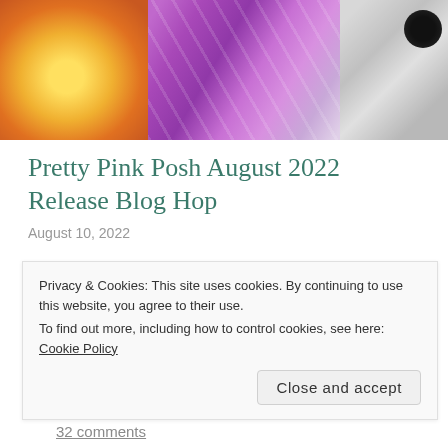[Figure (photo): Banner image with three sections: left shows orange/yellow pumpkin, center shows purple fabric with white lace pattern, right shows a black spider decoration on light background]
Pretty Pink Posh August 2022 Release Blog Hop
August 10, 2022
Hello and welcome to my blog! I'm excited to be joining this blog hop, celebrating the Pretty Pink Posh August release!  If you're following along the blog hop, you should have arrived here from Raquel Arribas. I'll list all of today's blog hop participants below, if you want to start at the beginning. My
Privacy & Cookies: This site uses cookies. By continuing to use this website, you agree to their use.
To find out more, including how to control cookies, see here: Cookie Policy
Close and accept
32 comments